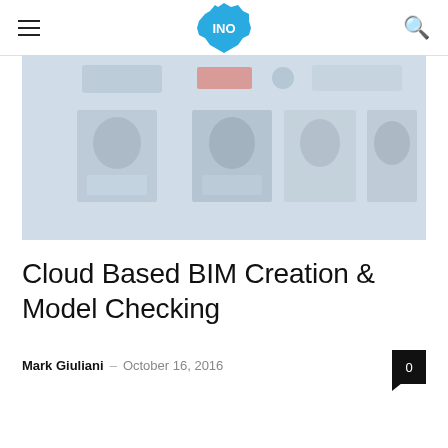INO
[Figure (screenshot): Blurred screenshot showing a panel of headshots/speakers from a webinar or conference page, with logos at the top]
Cloud Based BIM Creation & Model Checking
Mark Giuliani  –  October 16, 2016